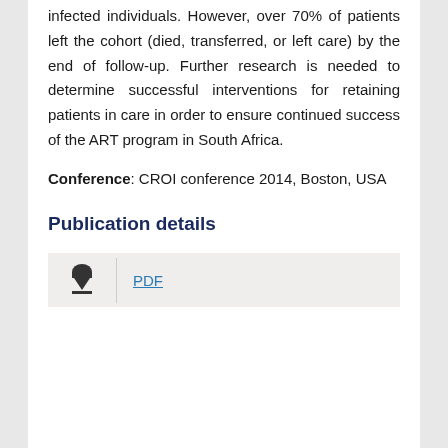infected individuals. However, over 70% of patients left the cohort (died, transferred, or left care) by the end of follow-up. Further research is needed to determine successful interventions for retaining patients in care in order to ensure continued success of the ART program in South Africa.
Conference: CROI conference 2014, Boston, USA
Publication details
[Figure (other): PDF download button with cloud/download icon on the left and a PDF link on the right]